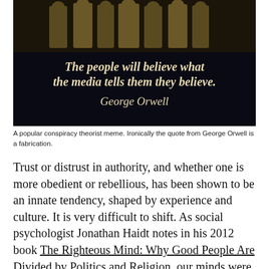[Figure (photo): A dark-background meme image. Upper portion shows a sepia/black-and-white photo of a group of men in suits walking. Below the photo is bold italic text reading: 'The people will believe what the media tells them they believe.' followed by the attribution 'George Orwell' in italic.]
A popular conspiracy theorist meme. Ironically the quote from George Orwell is a fabrication.
Trust or distrust in authority, and whether one is more obedient or rebellious, has been shown to be an innate tendency, shaped by experience and culture. It is very difficult to shift. As social psychologist Jonathan Haidt notes in his 2012 book The Righteous Mind: Why Good People Are Divided by Politics and Religion, our minds were designed for “groupish righteousness”: